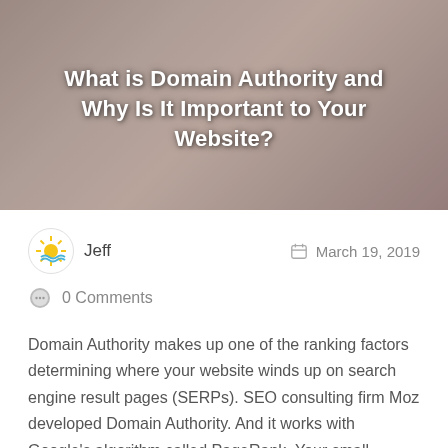[Figure (photo): Hero image showing a hand with blurred background, overlaid with blog post title text in white]
What is Domain Authority and Why Is It Important to Your Website?
Jeff
March 19, 2019
0 Comments
Domain Authority makes up one of the ranking factors determining where your website winds up on search engine result pages (SERPs). SEO consulting firm Moz developed Domain Authority. And it works with Google's algorithm called PageRank. Your small business website's backlink portfolio makes up one of the biggest measures of a good domain authority. Why...